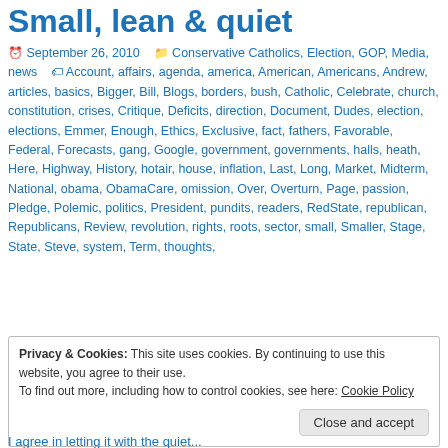Small, lean & quiet
September 26, 2010   Conservative Catholics, Election, GOP, Media, news   Account, affairs, agenda, america, American, Americans, Andrew, articles, basics, Bigger, Bill, Blogs, borders, bush, Catholic, Celebrate, church, constitution, crises, Critique, Deficits, direction, Document, Dudes, election, elections, Emmer, Enough, Ethics, Exclusive, fact, fathers, Favorable, Federal, Forecasts, gang, Google, government, governments, halls, heath, Here, Highway, History, hotair, house, inflation, Last, Long, Market, Midterm, National, obama, ObamaCare, omission, Over, Overturn, Page, passion, Pledge, Polemic, politics, President, pundits, readers, RedState, republican, Republicans, Review, revolution, rights, roots, sector, small, Smaller, Stage, State, Steve, system, Term, thoughts,
Privacy & Cookies: This site uses cookies. By continuing to use this website, you agree to their use.
To find out more, including how to control cookies, see here: Cookie Policy
Close and accept